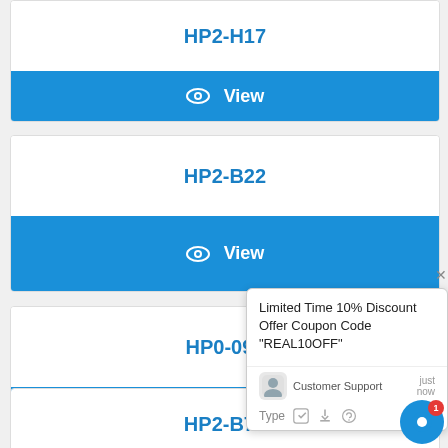HP2-H17
View
HP2-B22
View
HP0-090
View
Limited Time 10% Discount Offer Coupon Code "REAL10OFF"
Customer Support   just now
Type
HP2-B71